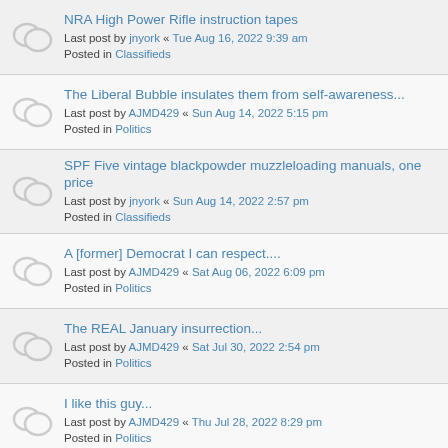NRA High Power Rifle instruction tapes
Last post by jnyork « Tue Aug 16, 2022 9:39 am
Posted in Classifieds
The Liberal Bubble insulates them from self-awareness...
Last post by AJMD429 « Sun Aug 14, 2022 5:15 pm
Posted in Politics
SPF Five vintage blackpowder muzzleloading manuals, one price
Last post by jnyork « Sun Aug 14, 2022 2:57 pm
Posted in Classifieds
A [former] Democrat I can respect....
Last post by AJMD429 « Sat Aug 06, 2022 6:09 pm
Posted in Politics
The REAL January insurrection...
Last post by AJMD429 « Sat Jul 30, 2022 2:54 pm
Posted in Politics
I like this guy...
Last post by AJMD429 « Thu Jul 28, 2022 8:29 pm
Posted in Politics
Aug 8th deadline : Grassley vs FIB